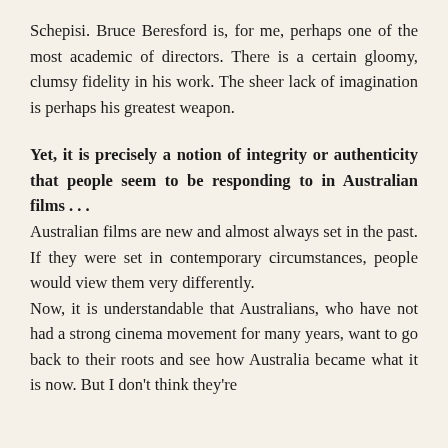Schepisi. Bruce Beresford is, for me, perhaps one of the most academic of directors. There is a certain gloomy, clumsy fidelity in his work. The sheer lack of imagination is perhaps his greatest weapon.
Yet, it is precisely a notion of integrity or authenticity that people seem to be responding to in Australian films . . .
Australian films are new and almost always set in the past. If they were set in contemporary circumstances, people would view them very differently.
Now, it is understandable that Australians, who have not had a strong cinema movement for many years, want to go back to their roots and see how Australia became what it is now. But I don't think they're